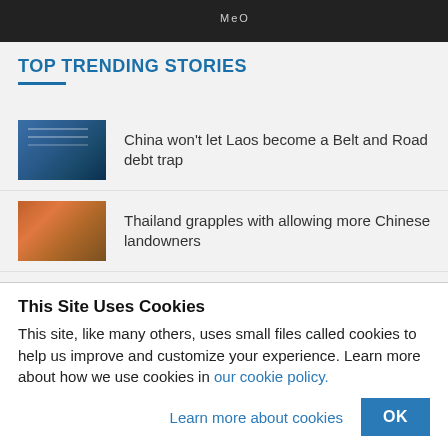[Figure (screenshot): Dark banner image at top of page showing a mobile app interface with MeO text visible]
TOP TRENDING STORIES
China won't let Laos become a Belt and Road debt trap
Thailand grapples with allowing more Chinese landowners
Indonesia getting 'gray-zoned' by China
Iran lending Russia a big helping hand in Ukraine
This Site Uses Cookies
This site, like many others, uses small files called cookies to help us improve and customize your experience. Learn more about how we use cookies in our cookie policy.
Learn more about cookies